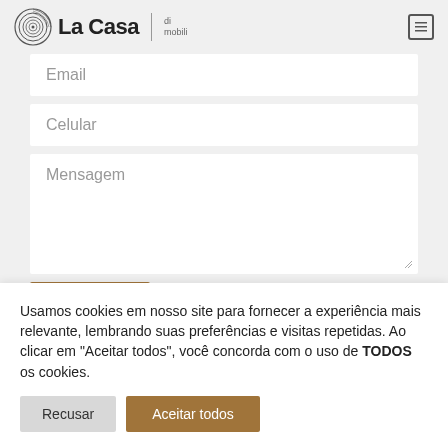[Figure (logo): La Casa di mobili logo with decorative circular icon]
Email
Celular
Mensagem
Usamos cookies em nosso site para fornecer a experiência mais relevante, lembrando suas preferências e visitas repetidas. Ao clicar em "Aceitar todos", você concorda com o uso de TODOS os cookies.
Recusar
Aceitar todos